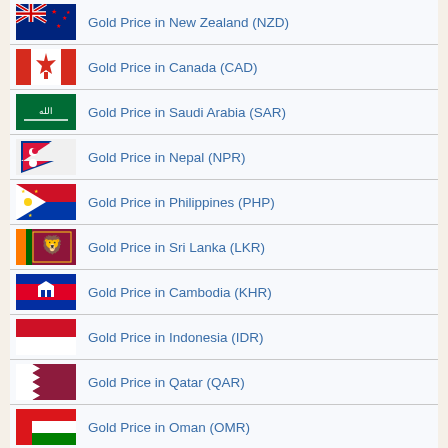Gold Price in New Zealand (NZD)
Gold Price in Canada (CAD)
Gold Price in Saudi Arabia (SAR)
Gold Price in Nepal (NPR)
Gold Price in Philippines (PHP)
Gold Price in Sri Lanka (LKR)
Gold Price in Cambodia (KHR)
Gold Price in Indonesia (IDR)
Gold Price in Qatar (QAR)
Gold Price in Oman (OMR)
Gold Price in Kuwait (KWD)
Gold Price in Bahrain (BHD)
Gold Price in Jordan (JOD)